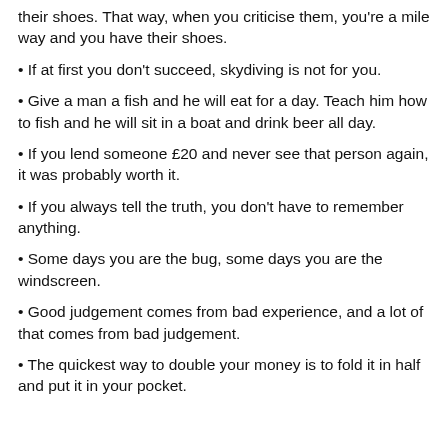their shoes. That way, when you criticise them, you're a mile way and you have their shoes.
• If at first you don't succeed, skydiving is not for you.
• Give a man a fish and he will eat for a day. Teach him how to fish and he will sit in a boat and drink beer all day.
• If you lend someone £20 and never see that person again, it was probably worth it.
• If you always tell the truth, you don't have to remember anything.
• Some days you are the bug, some days you are the windscreen.
• Good judgement comes from bad experience, and a lot of that comes from bad judgement.
• The quickest way to double your money is to fold it in half and put it in your pocket.